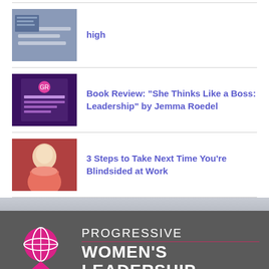[Figure (photo): Thumbnail image of keyboard/laptop]
high
[Figure (photo): Book cover thumbnail for She Thinks Like a Boss: Leadership]
Book Review: “She Thinks Like a Boss: Leadership” by Jemma Roedel
[Figure (photo): Photo of a woman in pink top]
3 Steps to Take Next Time You’re Blindsided at Work
[Figure (logo): Progressive Women's Leadership logo with pink figure icon]
PROGRESSIVE
WOMEN’S LEADERSHIP
Powered by SuccessFuel
Training
Blog Topics
Leadership E-